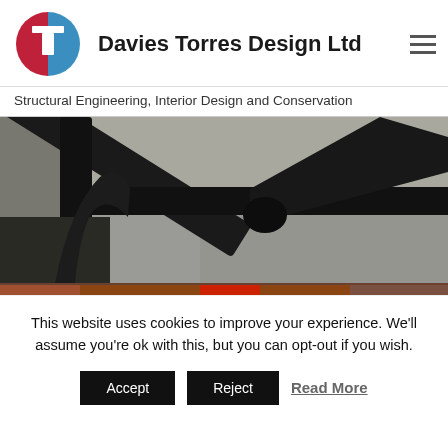[Figure (logo): Davies Torres Design Ltd logo — circular badge split red and blue with a white T letter mark]
Davies Torres Design Ltd
Structural Engineering, Interior Design and Conservation
[Figure (photo): Close-up photograph of dark steel structural beams or framing members with visible welds and concrete ceiling]
[Figure (photo): Partially visible second photo below the main image, warm tones suggesting a construction or interior scene]
This website uses cookies to improve your experience. We'll assume you're ok with this, but you can opt-out if you wish.
Accept
Reject
Read More